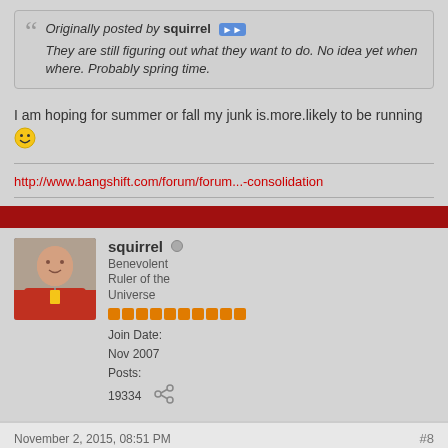Originally posted by squirrel
They are still figuring out what they want to do. No idea yet when where. Probably spring time.
I am hoping for summer or fall my junk is.more.likely to be running 😊
http://www.bangshift.com/forum/forum...-consolidation
squirrel
Benevolent Ruler of the Universe
Join Date: Nov 2007
Posts: 19334
November 2, 2015, 08:51 PM
#8
I think they want to spread it out over the year, not have two events in